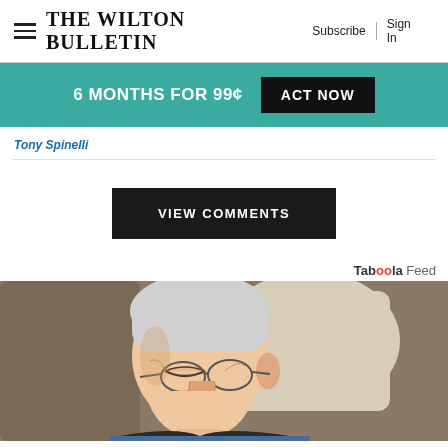The Wilton Bulletin | Subscribe | Sign In
[Figure (infographic): Promotional banner: 6 MONTHS FOR 99¢ ACT NOW on teal background]
Tony Spinelli
VIEW COMMENTS
Taboola Feed
[Figure (photo): Elderly man sleeping in an armchair, wearing glasses and a dark sweater]